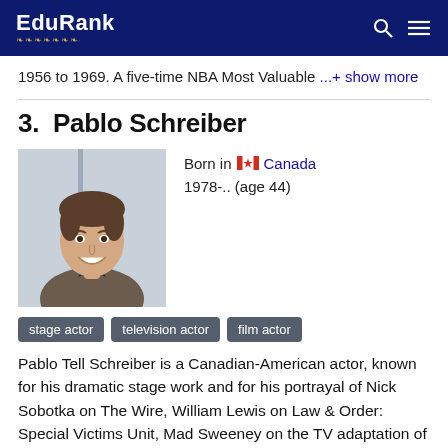EduRank
1956 to 1969. A five-time NBA Most Valuable ...+ show more
3.  Pablo Schreiber
[Figure (photo): Photo of Pablo Schreiber at a festival event, smiling man in suit jacket]
Born in Canada
1978-.. (age 44)
stage actor
television actor
film actor
Pablo Tell Schreiber is a Canadian-American actor, known for his dramatic stage work and for his portrayal of Nick Sobotka on The Wire, William Lewis on Law & Order: Special Victims Unit, Mad Sweeney on the TV adaptation of A... + show more